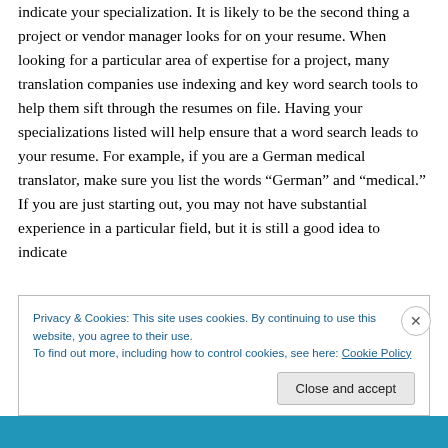indicate your specialization. It is likely to be the second thing a project or vendor manager looks for on your resume. When looking for a particular area of expertise for a project, many translation companies use indexing and key word search tools to help them sift through the resumes on file. Having your specializations listed will help ensure that a word search leads to your resume. For example, if you are a German medical translator, make sure you list the words “German” and “medical.” If you are just starting out, you may not have substantial experience in a particular field, but it is still a good idea to indicate
Privacy & Cookies: This site uses cookies. By continuing to use this website, you agree to their use.
To find out more, including how to control cookies, see here: Cookie Policy